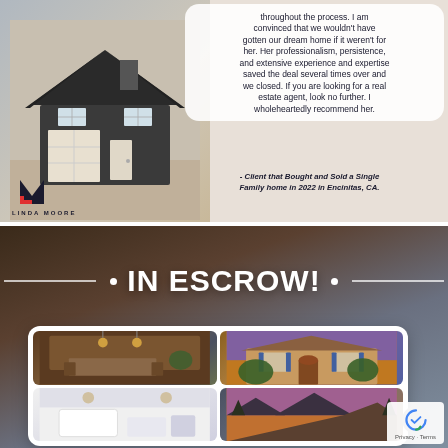[Figure (photo): Real estate agent promotional card with house model photo on left, quote bubble on right, Linda Moore logo at bottom left]
throughout the process. I am convinced that we wouldn't have gotten our dream home if it weren't for her. Her professionalism, persistence, and extensive experience and expertise saved the deal several times over and we closed.  If you are looking for a real estate agent, look no further. I wholeheartedly recommend her.
- Client that Bought and Sold a Single Family home in 2022 in Encinitas, CA.
[Figure (photo): IN ESCROW! announcement banner with property photo grid showing interior kitchen and exterior home shots]
IN ESCROW!